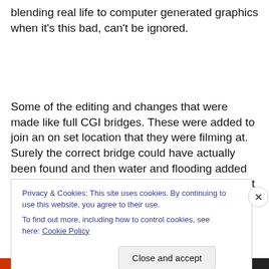blending real life to computer generated graphics when it's this bad, can't be ignored.
Some of the editing and changes that were made like full CGI bridges. These were added to join an on set location that they were filming at. Surely the correct bridge could have actually been found and then water and flooding added later in post production? I am a firm believer that
Privacy & Cookies: This site uses cookies. By continuing to use this website, you agree to their use.
To find out more, including how to control cookies, see here: Cookie Policy